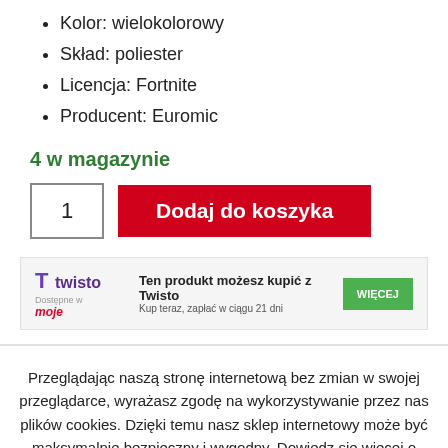Kolor: wielokolorowy
Skład: poliester
Licencja: Fortnite
Producent: Euromic
4 w magazynie
1   Dodaj do koszyka
[Figure (infographic): Twisto payment banner: T twisto logo, Dostępne w moje logo, text 'Ten produkt możesz kupić z Twisto Kup teraz, zapłać w ciągu 21 dni', green WIĘCEJ button]
Przeglądając naszą stronę internetową bez zmian w swojej przeglądarce, wyrażasz zgodę na wykorzystywanie przez nas plików cookies. Dzięki temu nasz sklep internetowy może być maksymalnie bezpieczny i wygodny. Dowiedz się więcej o tym, jak używamy plików cookies z Polityki Prywatności. Akceptuje  Więcej informacji